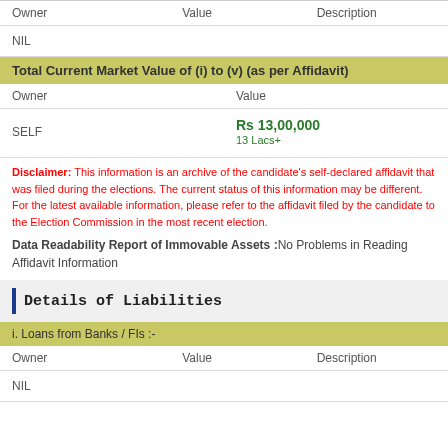| Owner | Value | Description |
| --- | --- | --- |
| NIL |  |  |
Total Current Market Value of (i) to (v) (as per Affidavit)
| Owner | Value |
| --- | --- |
| SELF | Rs 13,00,000
13 Lacs+ |
Disclaimer: This information is an archive of the candidate’s self-declared affidavit that was filed during the elections. The current status of this information may be different. For the latest available information, please refer to the affidavit filed by the candidate to the Election Commission in the most recent election.
Data Readability Report of Immovable Assets :No Problems in Reading Affidavit Information
Details of Liabilities
i. Loans from Banks / FIs :-
| Owner | Value | Description |
| --- | --- | --- |
| NIL |  |  |